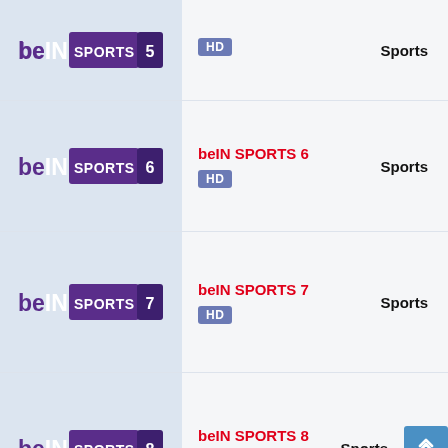[Figure (logo): beIN SPORTS 5 logo - top row partial]
HD
Sports
[Figure (logo): beIN SPORTS 6 logo]
beIN SPORTS 6
HD
Sports
[Figure (logo): beIN SPORTS 7 logo]
beIN SPORTS 7
HD
Sports
[Figure (logo): beIN SPORTS 8 logo]
beIN SPORTS 8
HD
Sports